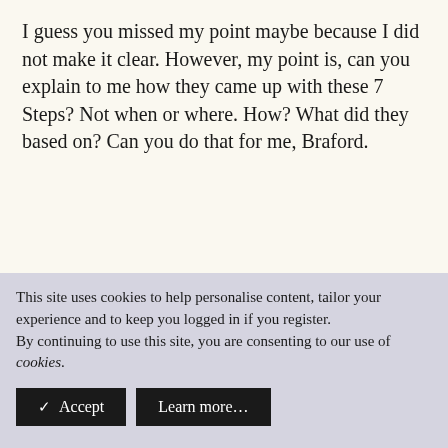I guess you missed my point maybe because I did not make it clear. However, my point is, can you explain to me how they came up with these 7 Steps? Not when or where. How? What did they based on? Can you do that for me, Braford.
bradford said: ↑ It is very doubtful that this was the method of Yarrow divination used in the Yi's first thousand years. In fact, a preliminary statistical analysis that I did of Pre-Qin divination results suggests that the original method...
This site uses cookies to help personalise content, tailor your experience and to keep you logged in if you register.
By continuing to use this site, you are consenting to our use of cookies.